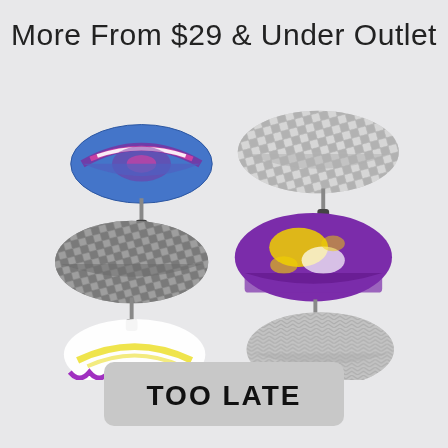More From $29 & Under Outlet
[Figure (photo): Six colorful folding umbrellas arranged in three rows of two: top row has a blue/purple/pink swirl pattern umbrella and a grey diamond-pattern umbrella; middle row has two dark grey diamond-pattern umbrellas and a purple/yellow abstract pattern umbrella; bottom row has a white/yellow/purple ruffle-edge umbrella and a silver chevron-pattern umbrella.]
TOO LATE